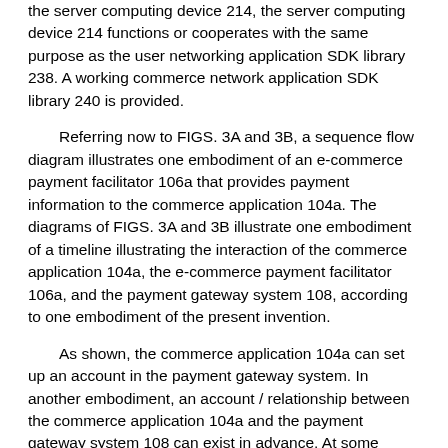the server computing device 214, the server computing device 214 functions or cooperates with the same purpose as the user networking application SDK library 238. A working commerce network application SDK library 240 is provided.
Referring now to FIGS. 3A and 3B, a sequence flow diagram illustrates one embodiment of an e-commerce payment facilitator 106a that provides payment information to the commerce application 104a. The diagrams of FIGS. 3A and 3B illustrate one embodiment of a timeline illustrating the interaction of the commerce application 104a, the e-commerce payment facilitator 106a, and the payment gateway system 108, according to one embodiment of the present invention.
As shown, the commerce application 104a can set up an account in the payment gateway system. In another embodiment, an account / relationship between the commerce application 104a and the payment gateway system 108 can exist in advance. At some point, payment gateway system 108 may provide a merchant identifier (MID) and / or public and private keys to commerce application 104a (302). For example, if the merchant